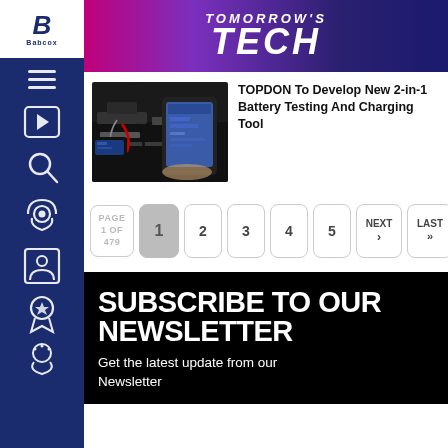TOMORROW'S TECH
[Figure (photo): Hand holding a phone near a vehicle battery with a diagnostic tool, showing battery testing equipment in use]
TOPDON To Develop New 2-in-1 Battery Testing And Charging Tool
PAGE 1 OF 479 | 1 | 2 | 3 | 4 | 5 | NEXT > | LAST >>
SUBSCRIBE TO OUR NEWSLETTER
Get the latest update from our Newsletter